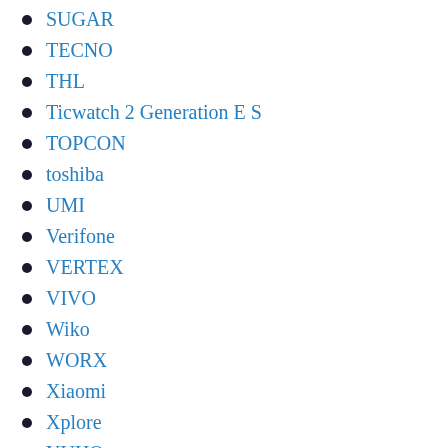SUGAR
TECNO
THL
Ticwatch 2 Generation E S
TOPCON
toshiba
UMI
Verifone
VERTEX
VIVO
Wiko
WORX
Xiaomi
Xplore
YUHO
ZEBRA